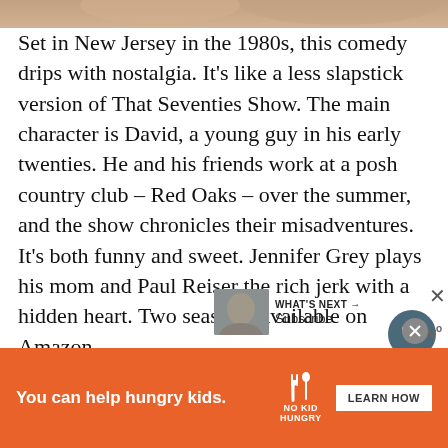[Figure (photo): Top portion of a photo showing people, cropped at the top of the page]
Set in New Jersey in the 1980s, this comedy drips with nostalgia. It’s like a less slapstick version of That Seventies Show. The main character is David, a young guy in his early twenties. He and his friends work at a posh country club – Red Oaks – over the summer, and the show chronicles their misadventures. It’s both funny and sweet. Jennifer Grey plays his mom and Paul Reiser the rich jerk with a hidden heart. Two seasons, available on Amazon.
[Figure (infographic): Heart (favorite) button — dark teal circle with white heart icon]
[Figure (infographic): Share button — white circle with share icon]
[Figure (photo): What’s Next thumbnail image]
WHAT’S NEXT → Subscribe
[Figure (infographic): Advertisement banner: You can help hungry kids. No Kid Hungry. LEARN HOW button. Orange background.]